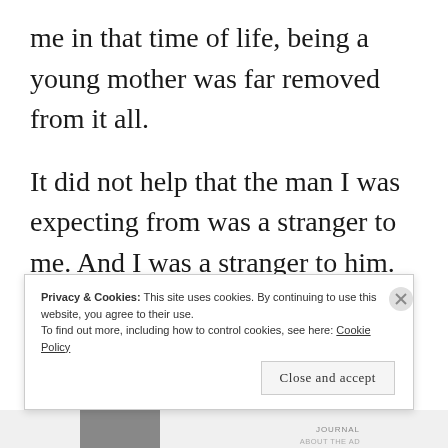me in that time of life, being a young mother was far removed from it all.
It did not help that the man I was expecting from was a stranger to me. And I was a stranger to him.
Privacy & Cookies: This site uses cookies. By continuing to use this website, you agree to their use. To find out more, including how to control cookies, see here: Cookie Policy
Close and accept